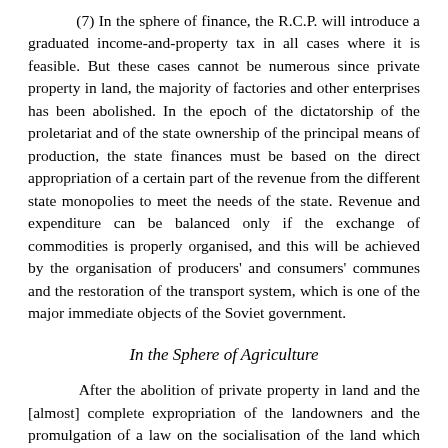(7) In the sphere of finance, the R.C.P. will introduce a graduated income-and-property tax in all cases where it is feasible. But these cases cannot be numerous since private property in land, the majority of factories and other enterprises has been abolished. In the epoch of the dictatorship of the proletariat and of the state ownership of the principal means of production, the state finances must be based on the direct appropriation of a certain part of the revenue from the different state monopolies to meet the needs of the state. Revenue and expenditure can be balanced only if the exchange of commodities is properly organised, and this will be achieved by the organisation of producers' and consumers' communes and the restoration of the transport system, which is one of the major immediate objects of the Soviet government.
In the Sphere of Agriculture
After the abolition of private property in land and the [almost] complete expropriation of the landowners and the promulgation of a law on the socialisation of the land which regards as preferable the large-scale farming of commonly-owned estates, the chief task of Soviet power is to discover and test in practice the most expedient and practical